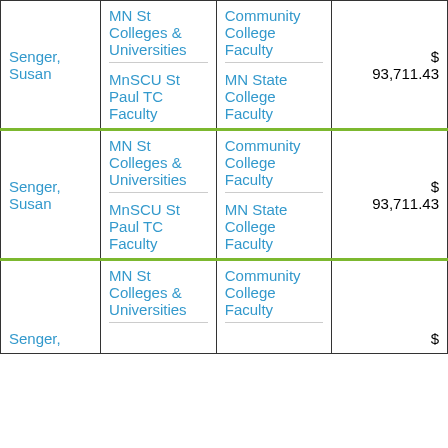| Name | Employer | Union | Amount |
| --- | --- | --- | --- |
| Senger, Susan | MN St Colleges & Universities / MnSCU St Paul TC Faculty | Community College Faculty / MN State College Faculty | $ 93,711.43 |
| Senger, Susan | MN St Colleges & Universities / MnSCU St Paul TC Faculty | Community College Faculty / MN State College Faculty | $ 93,711.43 |
| Senger, | MN St Colleges & Universities | Community College Faculty | $ ... |